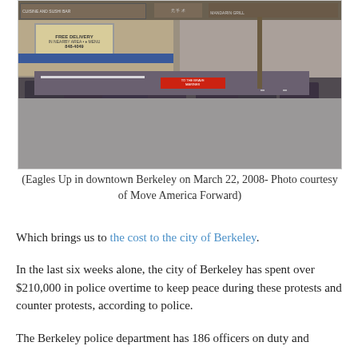[Figure (photo): A group of motorcyclists gathered in downtown Berkeley on March 22, 2008, in front of a strip of storefronts. Several motorcycles visible with riders and a red banner/sign among the group. The street is visible in the foreground.]
(Eagles Up in downtown Berkeley on March 22, 2008- Photo courtesy of Move America Forward)
Which brings us to the cost to the city of Berkeley.
In the last six weeks alone, the city of Berkeley has spent over $210,000 in police overtime to keep peace during these protests and counter protests, according to police.
The Berkeley police department has 186 officers on duty and